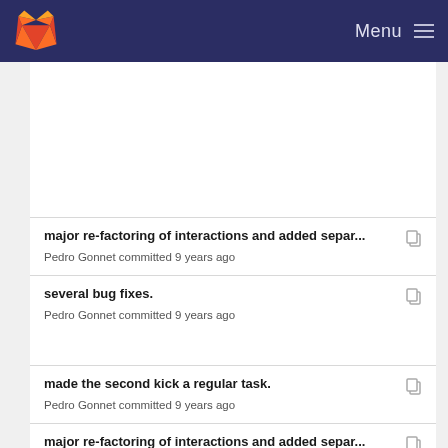GitLab — Menu
major re-factoring of interactions and added separ...
Pedro Gonnet committed 9 years ago
several bug fixes.
Pedro Gonnet committed 9 years ago
made the second kick a regular task.
Pedro Gonnet committed 9 years ago
major re-factoring of interactions and added separ...
Pedro Gonnet committed 9 years ago